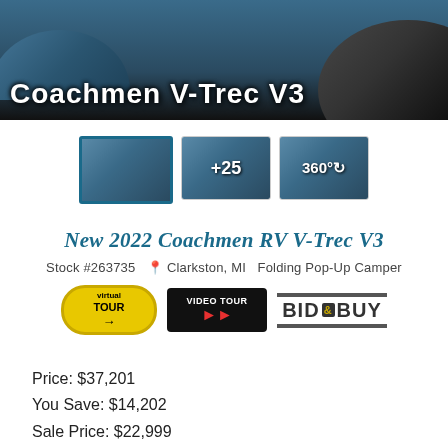[Figure (photo): Hero banner with woman in blue shirt and RV/trailer in background. Bold white text overlay reads 'Coachmen V-Trec V3'.]
[Figure (photo): Three thumbnail images of RV interior and 360 degree view. First thumbnail selected with blue border. Second shows '+25'. Third shows '360°' icon.]
New 2022 Coachmen RV V-Trec V3
Stock #263735  📍 Clarkston, MI  Folding Pop-Up Camper
[Figure (logo): Three buttons: Virtual Tour (yellow oval), Video Tour (black with red arrows), Bid & Buy (gray bars with logo text)]
Price: $37,201
You Save: $14,202
Sale Price: $22,999